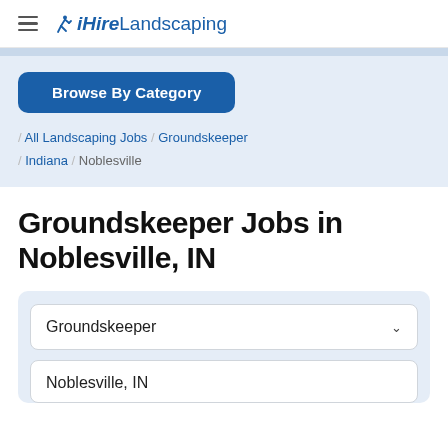iHireLandscaping
[Figure (logo): iHireLandscaping logo with hamburger menu icon]
Browse By Category
/ All Landscaping Jobs / Groundskeeper / Indiana / Noblesville
Groundskeeper Jobs in Noblesville, IN
Groundskeeper
Noblesville, IN